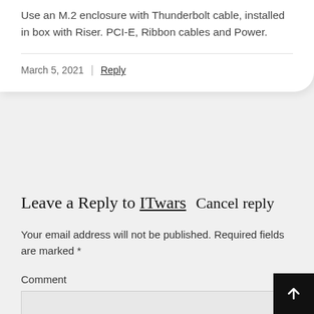Use an M.2 enclosure with Thunderbolt cable, installed in box with Riser. PCI-E, Ribbon cables and Power.
March 5, 2021 | Reply
Leave a Reply to ITwars Cancel reply
Your email address will not be published. Required fields are marked *
Comment